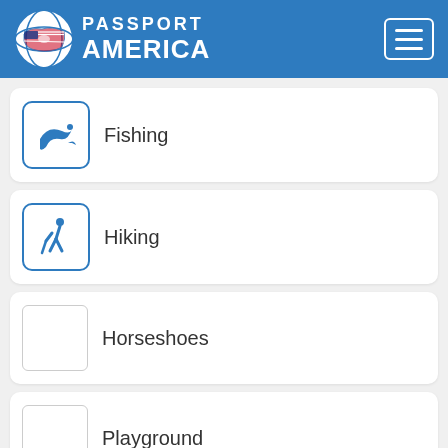Passport America
Fishing
Hiking
Horseshoes
Playground
Volleyball